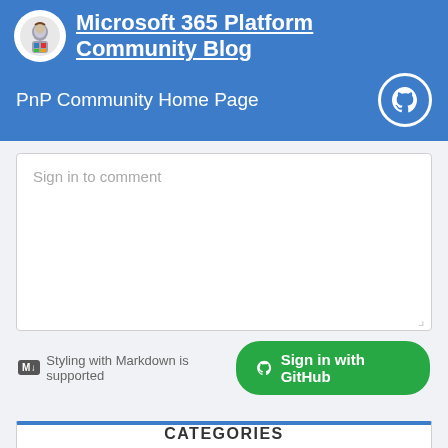Microsoft 365 Platform Community Blog
PnP Community Home Page
Sign in to comment
Styling with Markdown is supported   Sign in with GitHub
CATEGORIES
# Adaptive Cards community call (15)
# CLI for Microsoft 365 (30)